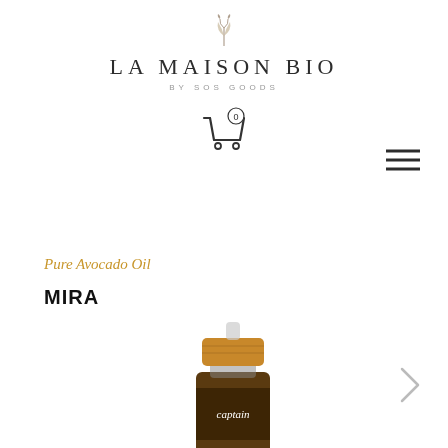[Figure (logo): La Maison Bio by SOS Goods logo with leaf icon, brand name in serif caps, and subtitle in spaced sans-serif]
[Figure (illustration): Shopping cart icon with '0' badge]
[Figure (illustration): Hamburger menu icon (three horizontal lines)]
Pure Avocado Oil
MIRA
[Figure (photo): Product photo of a dark glass dropper bottle with bamboo cap labeled 'captain' — a pure avocado oil product by Mira]
[Figure (illustration): Right-pointing chevron arrow navigation button]